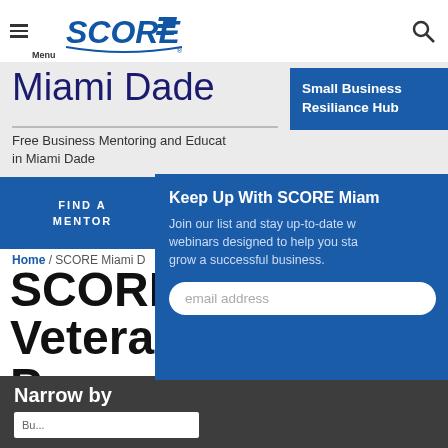SCORE - Menu / Search
Miami Dade
Small Business Resiliance Hub
Free Business Mentoring and Education in Miami Dade
FIND A MENTOR
Keep Up With SCORE Miam
Join our list and stay up-to-date with webinars designed to help you start and grow a successful business.
email address
Home / SCORE Miami D
SCORE M Veterans' Program
Narrow by